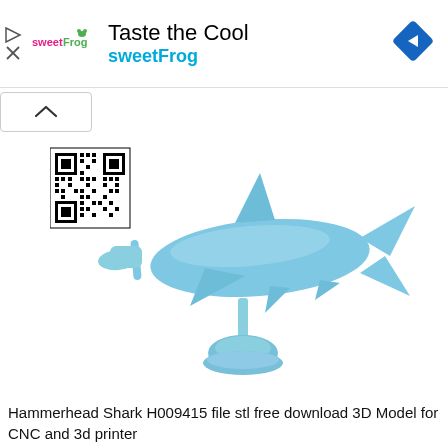[Figure (screenshot): sweetFrog advertisement banner with logo, 'Taste the Cool' title, 'sweetFrog' brand text in cyan, navigation icons on left, blue diamond turn arrow icon on right]
[Figure (illustration): 3D printed hammerhead shark model on a display base, light blue color, with a QR code in the upper left corner of the image]
Hammerhead Shark H009415 file stl free download 3D Model for CNC and 3d printer